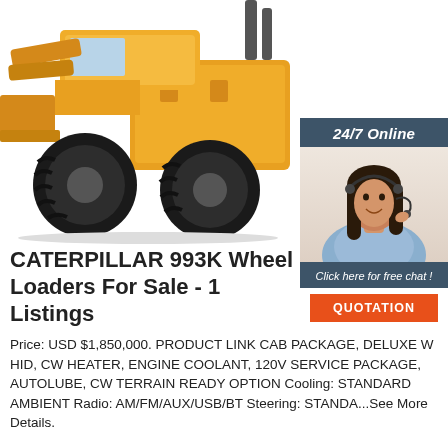[Figure (photo): Yellow Caterpillar 993K wheel loader seen from rear-left angle on white background, large black tires, yellow frame and lift arms]
[Figure (photo): 24/7 Online support panel with dark slate background showing smiling female customer service representative with headset, and orange QUOTATION button]
CATERPILLAR 993K Wheel Loaders For Sale - 1 Listings
Price: USD $1,850,000. PRODUCT LINK CAB PACKAGE, DELUXE W HID, CW HEATER, ENGINE COOLANT, 120V SERVICE PACKAGE, AUTOLUBE, CW TERRAIN READY OPTION Cooling: STANDARD AMBIENT Radio: AM/FM/AUX/USB/BT Steering: STANDA...See More Details.